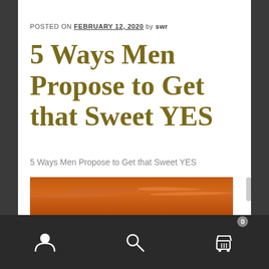POSTED ON FEBRUARY 12, 2020 by swr
5 Ways Men Propose to Get that Sweet YES
5 Ways Men Propose to Get that Sweet YES
[Figure (photo): Orange/reddish sunset sky with clouds]
Navigation bar with user icon, search icon, and cart icon with badge 0